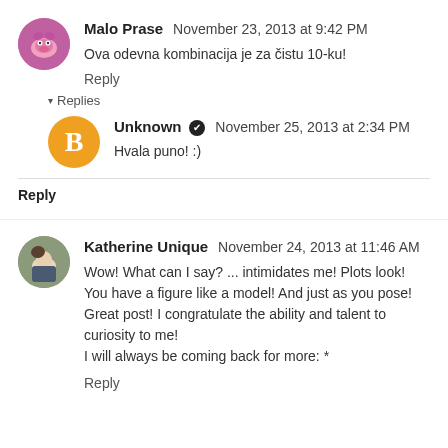Malo Prase  November 23, 2013 at 9:42 PM
Ova odevna kombinacija je za čistu 10-ku!
Reply
▾ Replies
Unknown ✔ November 25, 2013 at 2:34 PM
Hvala puno! :)
Reply
Katherine Unique  November 24, 2013 at 11:46 AM
Wow! What can I say? ... intimidates me! Plots look! You have a figure like a model! And just as you pose! Great post! I congratulate the ability and talent to curiosity to me! I will always be coming back for more: *
Reply